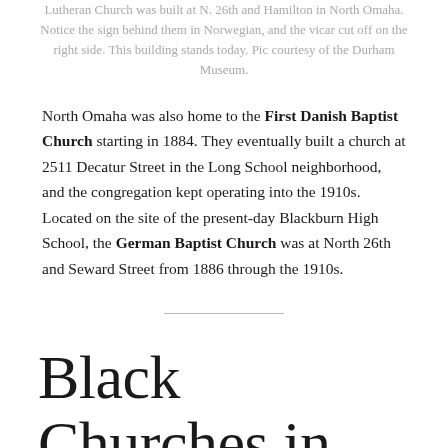Lutheran Church was built at N. 26th and Hamilton in North Omaha. Notice the sign behind them in Norwegian, and the vicar cut off on the right side. This building stands today. Pic courtesy of the Durham Museum.
North Omaha was also home to the First Danish Baptist Church starting in 1884. They eventually built a church at 2511 Decatur Street in the Long School neighborhood, and the congregation kept operating into the 1910s. Located on the site of the present-day Blackburn High School, the German Baptist Church was at North 26th and Seward Street from 1886 through the 1910s.
Black Churches in North Omaha